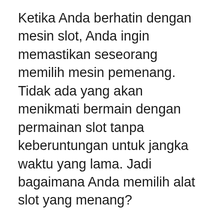Ketika Anda berhatin dengan mesin slot, Anda ingin memastikan seseorang memilih mesin pemenang. Tidak ada yang akan menikmati bermain dengan permainan slot tanpa keberuntungan untuk jangka waktu yang lama. Jadi bagaimana Anda memilih alat slot yang menang?
Ada situs tertentu untuk peluang memenangkan uang tunai atau hadiah dengan poin lebih besar saat memainkan permainan mesin Slot mereka secara gratis. Setiap pemain dapat membuat melibatkan situs web ini dan menikmati diri sendiri.
Mengapa begitu banyak? Nah, untuk alasan alasan bahwa orang pergi keluar dan membeli mesin Video Poker untuk anak-anak